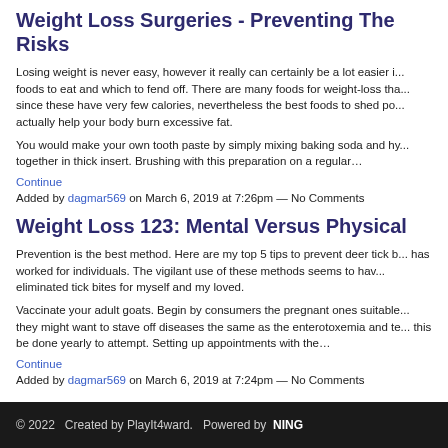Weight Loss Surgeries - Preventing The Risks
Losing weight is never easy, however it really can certainly be a lot easier if you know which foods to eat and which to fend off. There are many foods for weight-loss that are great options since these have very few calories, nevertheless the best foods to shed pounds are those that actually help your body burn excessive fat.
You would make your own tooth paste by simply mixing baking soda and hy... together in thick insert. Brushing with this preparation on a regular…
Continue
Added by dagmar569 on March 6, 2019 at 7:26pm — No Comments
Weight Loss 123: Mental Versus Physical
Prevention is the best method. Here are my top 5 tips to prevent deer tick b... has worked for individuals. The vigilant use of these methods seems to hav... eliminated tick bites for myself and my loved.
Vaccinate your adult goats. Begin by consumers the pregnant ones suitable... they might want to stave off diseases the same as the enterotoxemia and te... this be done yearly to attempt. Setting up appointments with the…
Continue
Added by dagmar569 on March 6, 2019 at 7:24pm — No Comments
© 2022   Created by PlayIt4ward.   Powered by  NING